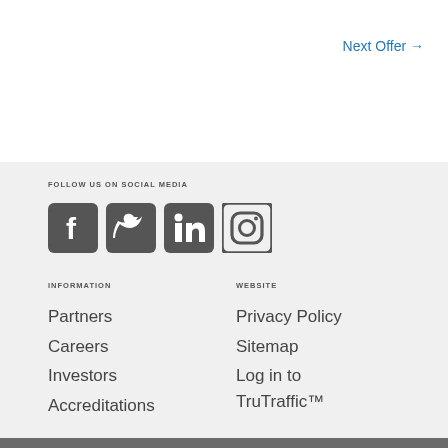Next Offer →
FOLLOW US ON SOCIAL MEDIA
[Figure (illustration): Four social media icons: Facebook, Twitter, LinkedIn, Instagram — dark gray rounded square icons]
INFORMATION
WEBSITE
Partners
Privacy Policy
Careers
Sitemap
Investors
Log in to TruTraffic™
Accreditations
Are you happy for us to use cookies? Select yes for a better experience.
YES   NO   VIEW PRIVACY POLICY